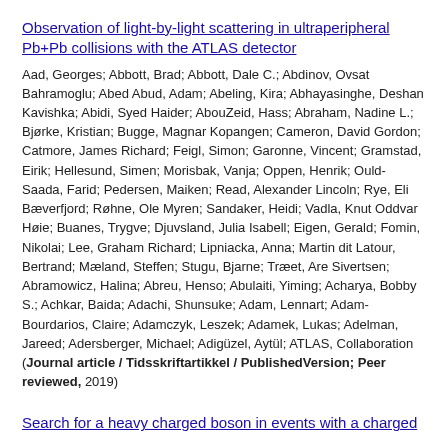Observation of light-by-light scattering in ultraperipheral Pb+Pb collisions with the ATLAS detector
Aad, Georges; Abbott, Brad; Abbott, Dale C.; Abdinov, Ovsat Bahramoglu; Abed Abud, Adam; Abeling, Kira; Abhayasinghe, Deshan Kavishka; Abidi, Syed Haider; AbouZeid, Hass; Abraham, Nadine L.; Bjørke, Kristian; Bugge, Magnar Kopangen; Cameron, David Gordon; Catmore, James Richard; Feigl, Simon; Garonne, Vincent; Gramstad, Eirik; Hellesund, Simen; Morisbak, Vanja; Oppen, Henrik; Ould-Saada, Farid; Pedersen, Maiken; Read, Alexander Lincoln; Rye, Eli Bæverfjord; Røhne, Ole Myren; Sandaker, Heidi; Vadla, Knut Oddvar Høie; Buanes, Trygve; Djuvsland, Julia Isabell; Eigen, Gerald; Fomin, Nikolai; Lee, Graham Richard; Lipniacka, Anna; Martin dit Latour, Bertrand; Mæland, Steffen; Stugu, Bjarne; Træet, Are Sivertsen; Abramowicz, Halina; Abreu, Henso; Abulaiti, Yiming; Acharya, Bobby S.; Achkar, Baida; Adachi, Shunsuke; Adam, Lennart; Adam-Bourdarios, Claire; Adamczyk, Leszek; Adamek, Lukas; Adelman, Jareed; Adersberger, Michael; Adigüzel, Aytül; ATLAS, Collaboration (Journal article / Tidsskriftartikkel / PublishedVersion; Peer reviewed, 2019)
Search for a heavy charged boson in events with a charged